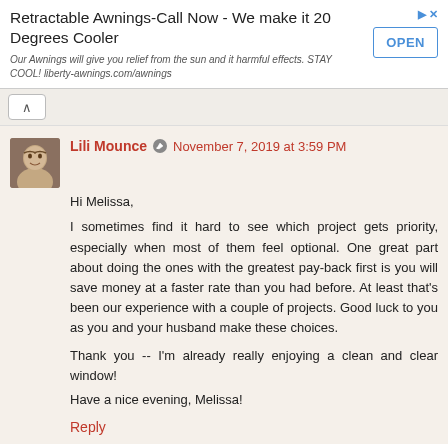[Figure (other): Advertisement banner for Retractable Awnings with OPEN button]
Retractable Awnings-Call Now - We make it 20 Degrees Cooler
Our Awnings will give you relief from the sun and it harmful effects. STAY COOL! liberty-awnings.com/awnings
Lili Mounce  November 7, 2019 at 3:59 PM
Hi Melissa,
I sometimes find it hard to see which project gets priority, especially when most of them feel optional. One great part about doing the ones with the greatest pay-back first is you will save money at a faster rate than you had before. At least that's been our experience with a couple of projects. Good luck to you as you and your husband make these choices.

Thank you -- I'm already really enjoying a clean and clear window!
Have a nice evening, Melissa!
Reply